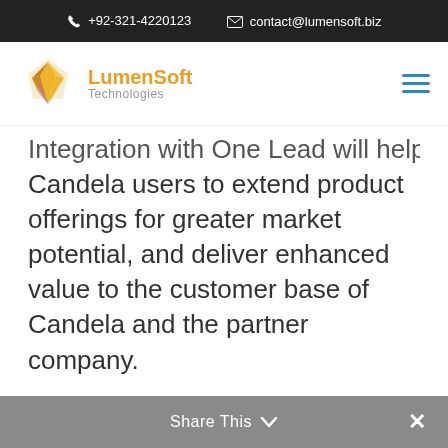+92-321-4220123   contact@lumensoft.biz
[Figure (logo): LumenSoft Technologies logo with yellow angular gem icon and orange/grey text]
Integration with One Lead will help Candela users to extend product offerings for greater market potential, and deliver enhanced value to the customer base of Candela and the partner company.
Share This ∨   ×